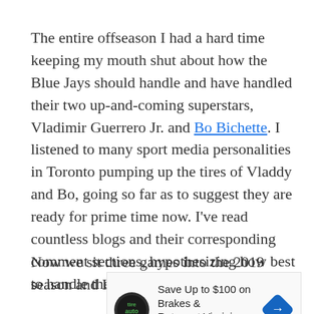The entire offseason I had a hard time keeping my mouth shut about how the Blue Jays should handle and have handled their two up-and-coming superstars, Vladimir Guerrero Jr. and Bo Bichette. I listened to many sport media personalities in Toronto pumping up the tires of Vladdy and Bo, going so far as to suggest they are ready for prime time now. I've read countless blogs and their corresponding comment sections, hypothesizing how best to handle these two young men.
Now we sit three games into the 2019 season and I've
[Figure (other): Advertisement banner: Save Up to $100 on Brakes & Rotors at Virginia Tire & Auto, with logo and direction arrow icon]